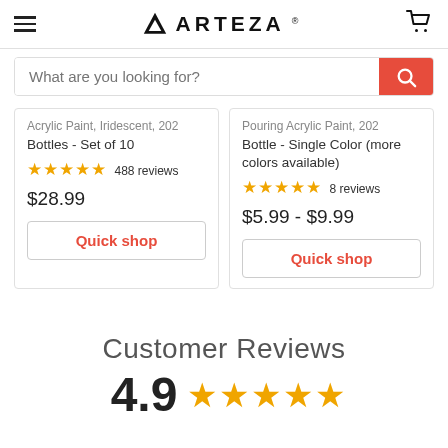ARTEZA
What are you looking for?
Acrylic Paint, Iridescent, 202 Bottles - Set of 10
★★★★★ 488 reviews
$28.99
Quick shop
Pouring Acrylic Paint, 202 Bottle - Single Color (more colors available)
★★★★★ 8 reviews
$5.99 - $9.99
Quick shop
Customer Reviews
4.9 ★★★★★